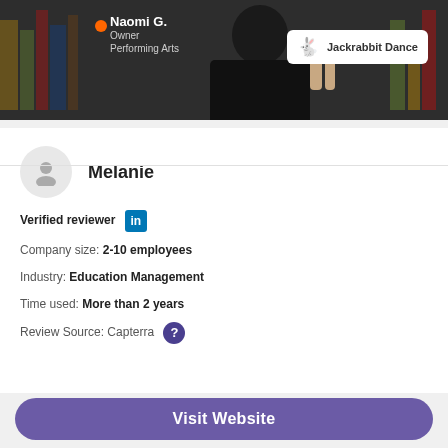[Figure (photo): Video thumbnail showing a person (Naomi G., Owner, Performing Arts) with a Jackrabbit Dance logo badge in the top right corner]
Melanie
Verified reviewer [LinkedIn icon]
Company size: 2-10 employees
Industry: Education Management
Time used: More than 2 years
Review Source: Capterra [?]
Visit Website